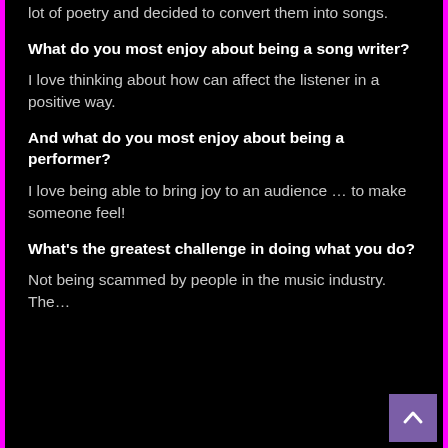lot of poetry and decided to convert them into songs.
What do you most enjoy about being a song writer?
I love thinking about how can affect the listener in a positive way.
And what do you most enjoy about being a performer?
I love being able to bring joy to an audience … to make someone feel!
What's the greatest challenge in doing what you do?
Not being scammed by people in the music industry. The…